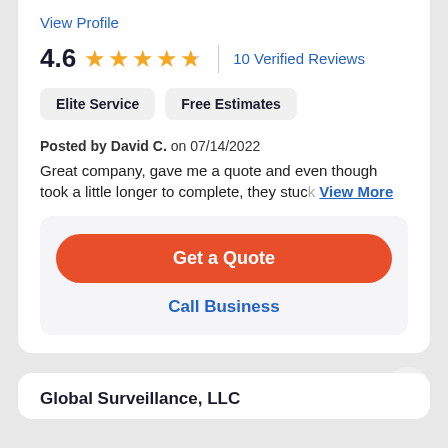View Profile
4.6 ★★★★½ | 10 Verified Reviews
Elite Service
Free Estimates
Posted by David C. on 07/14/2022
Great company, gave me a quote and even though took a little longer to complete, they stuc View More
Get a Quote
Call Business
Global Surveillance, LLC